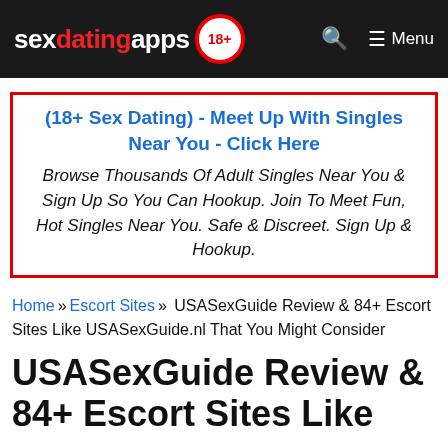sexdatingapps 18+ Menu
[Figure (other): Advertisement box with red border. Title: (18+ Sex Dating) - Meet Up With Singles Near You - Click Here. Body: Browse Thousands Of Adult Singles Near You & Sign Up So You Can Hookup. Join To Meet Fun, Hot Singles Near You. Safe & Discreet. Sign Up & Hookup.]
Home » Escort Sites » USASexGuide Review & 84+ Escort Sites Like USASexGuide.nl That You Might Consider
USASexGuide Review & 84+ Escort Sites Like